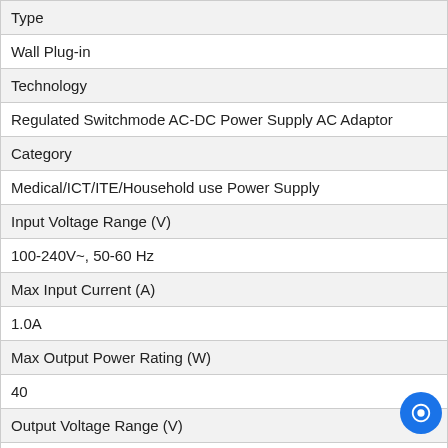| Type | Wall Plug-in |
| Technology | Regulated Switchmode AC-DC Power Supply AC Adaptor |
| Category | Medical/ICT/ITE/Household use Power Supply |
| Input Voltage Range (V) | 100-240V~, 50-60 Hz |
| Max Input Current (A) | 1.0A |
| Max Output Power Rating (W) | 40 |
| Output Voltage Range (V) | 5-48 |
| Efficiency | USA DOE Level VI / Eco-design Directive 2009/125/EC, (EU) 2019/1782 |
| Ingress Protection |  |